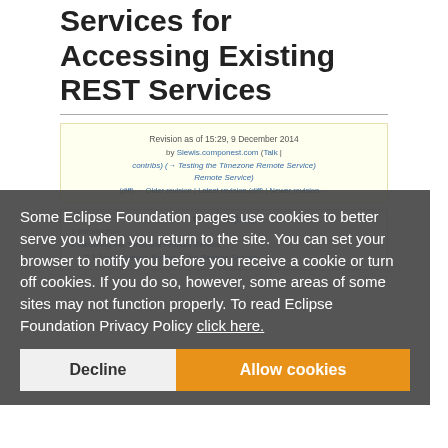Services for Accessing Existing REST Services
Revision as of 15:29, 9 December 2014 by Slewis.componest.com (Talk | contribs) (→ Testing the Timezone Remote Service)
(diff) ← Older revision | Latest revision (diff) | Newer revision →
Contents [hide]
1 Introduction
2 Declaring the Timezone Remote Service
2.1 Asynchronous Access to the Remote Service
Some Eclipse Foundation pages use cookies to better serve you when you return to the site. You can set your browser to notify you before you receive a cookie or turn off cookies. If you do so, however, some areas of some sites may not function properly. To read Eclipse Foundation Privacy Policy click here.